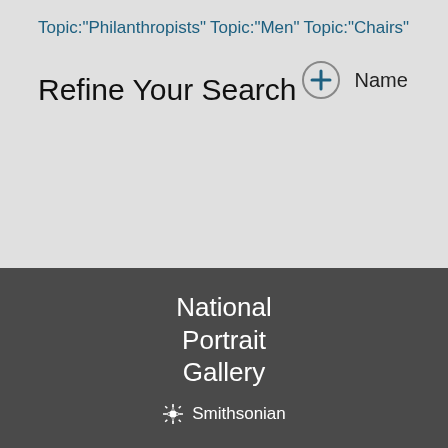Topic:"Philanthropists"
Topic:"Men"
Topic:"Chairs"
Refine Your Search
+ Name
National Portrait Gallery
Smithsonian